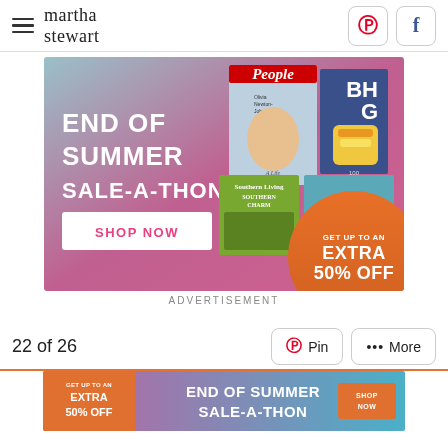martha stewart
[Figure (infographic): End of Summer Sale-A-Thon advertisement banner with magazine covers (People, BHG, Southern Living, allrecipes), Shop Now button, and orange circle with Get Up To An Extra 50% Off]
ADVERTISEMENT
22 of 26
[Figure (infographic): Bottom ad strip: End of Summer Sale-A-Thon with Get Up To An Extra 50% Off and Shop Now button]